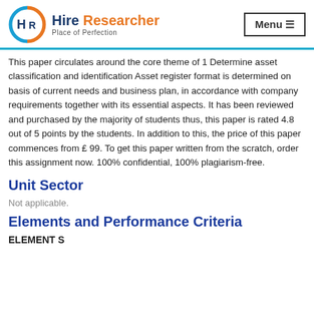Hire Researcher — Place of Perfection | Menu
This paper circulates around the core theme of 1 Determine asset classification and identification Asset register format is determined on basis of current needs and business plan, in accordance with company requirements together with its essential aspects. It has been reviewed and purchased by the majority of students thus, this paper is rated 4.8 out of 5 points by the students. In addition to this, the price of this paper commences from £ 99. To get this paper written from the scratch, order this assignment now. 100% confidential, 100% plagiarism-free.
Unit Sector
Not applicable.
Elements and Performance Criteria
ELEMENT S